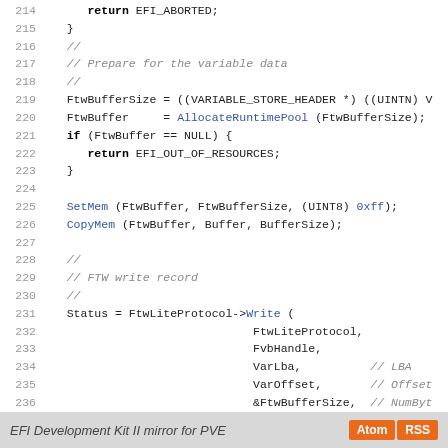Code listing lines 214-242: C source code snippet for EFI variable write routine
EFI Development Kit II mirror for PVE  [Atom] [RSS]